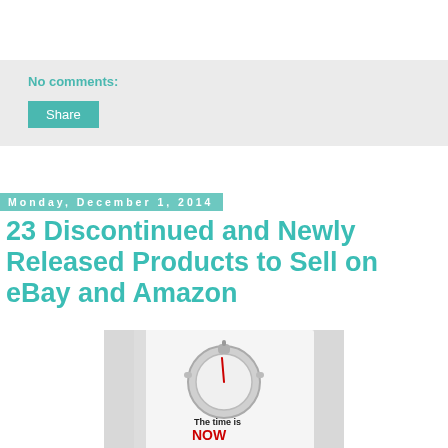No comments:
Share
Monday, December 1, 2014
23 Discontinued and Newly Released Products to Sell on eBay and Amazon
[Figure (photo): Book cover image showing a stopwatch/timer and the text 'The time is NOW']